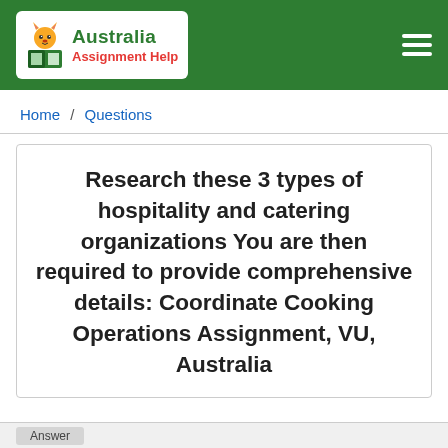Australia Assignment Help
Home / Questions
Research these 3 types of hospitality and catering organizations You are then required to provide comprehensive details: Coordinate Cooking Operations Assignment, VU, Australia